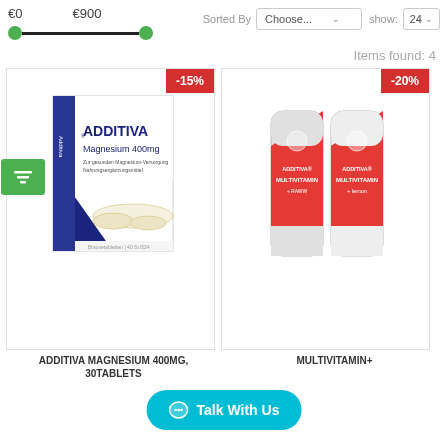€0   €900
Sorted By   show:
Choose...   24
Items found: 4
[Figure (screenshot): Product card for ADDITIVA Magnesium 400mg with -15% discount badge and green filter button]
ADDITIVA MAGNESIUM 400MG, 30TABLETS
[Figure (screenshot): Product card for MULTIVITAMIN+ with -20% discount badge]
MULTIVITAMIN+